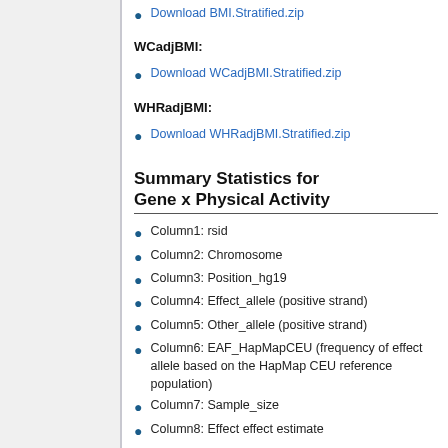Download BMI.Stratified.zip
WCadjBMI:
Download WCadjBMI.Stratified.zip
WHRadjBMI:
Download WHRadjBMI.Stratified.zip
Summary Statistics for Gene x Physical Activity
Column1: rsid
Column2: Chromosome
Column3: Position_hg19
Column4: Effect_allele (positive strand)
Column5: Other_allele (positive strand)
Column6: EAF_HapMapCEU (frequency of effect allele based on the HapMap CEU reference population)
Column7: Sample_size
Column8: Effect effect estimate